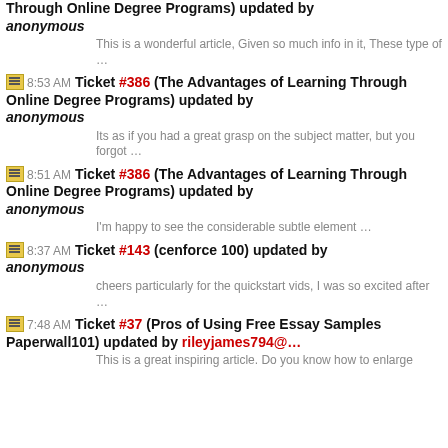Through Online Degree Programs) updated by anonymous
This is a wonderful article, Given so much info in it, These type of …
8:53 AM Ticket #386 (The Advantages of Learning Through Online Degree Programs) updated by anonymous
Its as if you had a great grasp on the subject matter, but you forgot …
8:51 AM Ticket #386 (The Advantages of Learning Through Online Degree Programs) updated by anonymous
I'm happy to see the considerable subtle element …
8:37 AM Ticket #143 (cenforce 100) updated by anonymous
cheers particularly for the quickstart vids, I was so excited after …
7:48 AM Ticket #37 (Pros of Using Free Essay Samples Paperwall101) updated by rileyjames794@…
This is a great inspiring article. Do you know how to enlarge